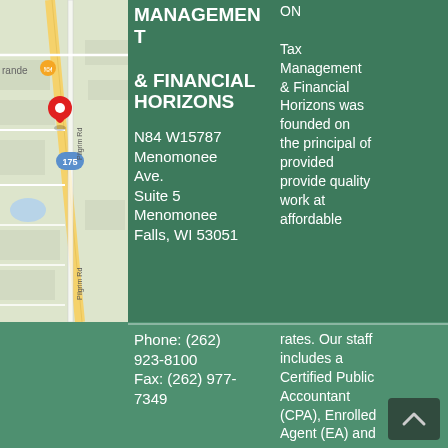[Figure (map): Google Maps screenshot showing location near Pilgrim Rd and route 175 in Menomonee Falls, WI with a red location pin marker]
MANAGEMENT & FINANCIAL HORIZONS
N84 W15787 Menomonee Ave.
Suite 5
Menomonee Falls, WI 53051
Tax Management & Financial Horizons was founded on the principal of provided provide quality work at affordable rates. Our staff includes a Certified Public Accountant (CPA), Enrolled Agent (EA) and
Phone: (262) 923-8100
Fax: (262) 977-7349